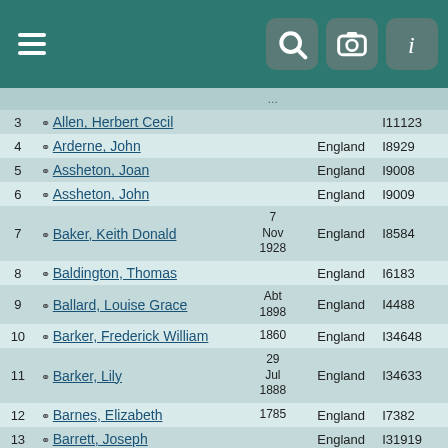Navigation header with menu, search, camera, and info icons
| # | Name | Birth | Place | ID |
| --- | --- | --- | --- | --- |
| 3 | Allen, Herbert Cecil |  |  | I11123 |
| 4 | Arderne, John |  | England | I8929 |
| 5 | Assheton, Joan |  | England | I9008 |
| 6 | Assheton, John |  | England | I9009 |
| 7 | Baker, Keith Donald | 7 Nov 1928 | England | I8584 |
| 8 | Baldington, Thomas |  | England | I6183 |
| 9 | Ballard, Louise Grace | Abt 1898 | England | I4488 |
| 10 | Barker, Frederick William | 1860 | England | I34648 |
| 11 | Barker, Lily | 29 Jul 1888 | England | I34633 |
| 12 | Barnes, Elizabeth | 1785 | England | I7382 |
| 13 | Barrett, Joseph |  | England | I31919 |
| 14 | Barrow, William | Abt 1795 | England | I7905 |
| 15 | Bass, Betsy Ann | 1826 | England | I10050 |
|  |  | 14 |  |  |